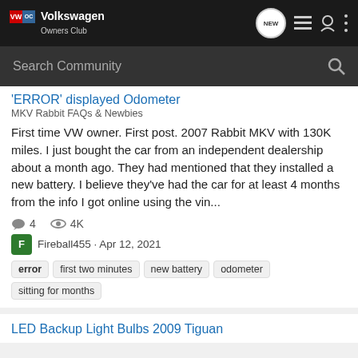Volkswagen Owners Club
Search Community
'ERROR' displayed Odometer
MKV Rabbit FAQs & Newbies
First time VW owner. First post. 2007 Rabbit MKV with 130K miles. I just bought the car from an independent dealership about a month ago. They had mentioned that they installed a new battery. I believe they've had the car for at least 4 months from the info I got online using the vin...
4  4K
Fireball455 · Apr 12, 2021
error
first two minutes
new battery
odometer
sitting for months
LED Backup Light Bulbs 2009 Tiguan